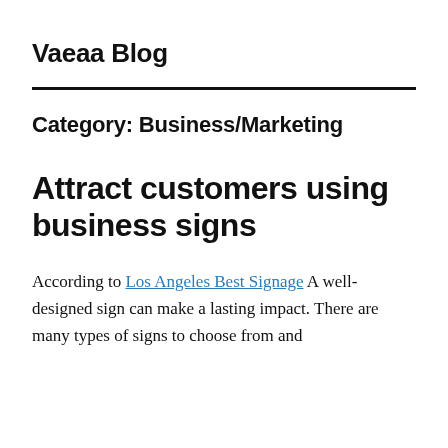Vaeaa Blog
Category: Business/Marketing
Attract customers using business signs
According to Los Angeles Best Signage A well-designed sign can make a lasting impact. There are many types of signs to choose from and